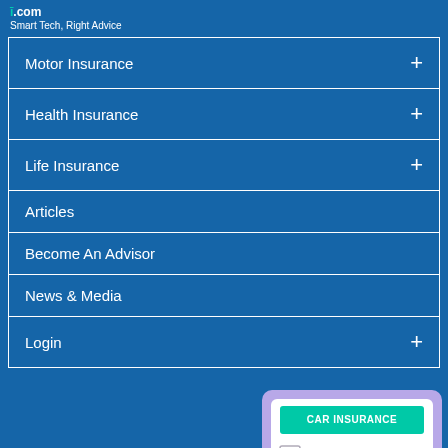.com Smart Tech, Right Advice
Motor Insurance +
Health Insurance +
Life Insurance +
Articles
Become An Advisor
News & Media
Login +
[Figure (illustration): A car insurance document card illustration with a teal/green 'CAR INSURANCE' button at the top, a checkbox with a checkmark, and horizontal lines representing form fields, on a white card with purple border background.]